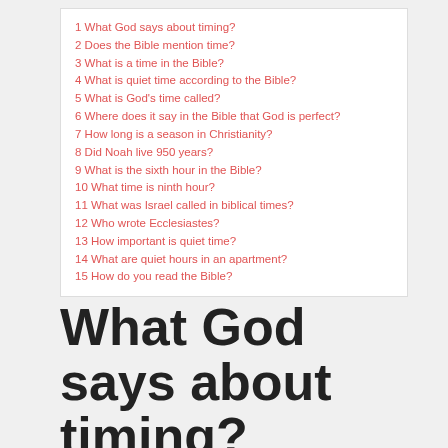1 What God says about timing?
2 Does the Bible mention time?
3 What is a time in the Bible?
4 What is quiet time according to the Bible?
5 What is God's time called?
6 Where does it say in the Bible that God is perfect?
7 How long is a season in Christianity?
8 Did Noah live 950 years?
9 What is the sixth hour in the Bible?
10 What time is ninth hour?
11 What was Israel called in biblical times?
12 Who wrote Ecclesiastes?
13 How important is quiet time?
14 What are quiet hours in an apartment?
15 How do you read the Bible?
What God says about timing?